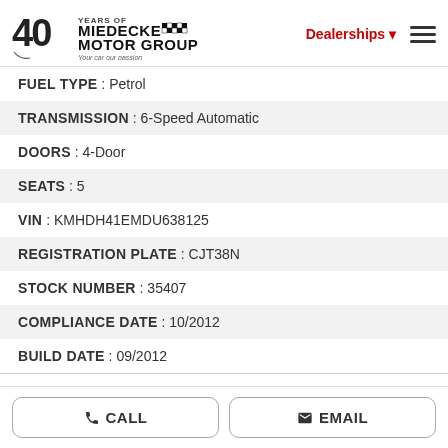[Figure (logo): 40 Years of Miedecke Motor Group logo with checkered flag pattern and tagline 'Your car our passion']
FUEL TYPE : Petrol
TRANSMISSION : 6-Speed Automatic
DOORS : 4-Door
SEATS : 5
VIN : KMHDH41EMDU638125
REGISTRATION PLATE : CJT38N
STOCK NUMBER : 35407
COMPLIANCE DATE : 10/2012
BUILD DATE : 09/2012
CALL
EMAIL